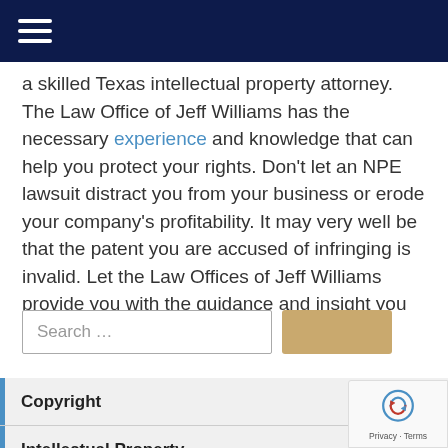Navigation bar with hamburger menu
a skilled Texas intellectual property attorney. The Law Office of Jeff Williams has the necessary experience and knowledge that can help you protect your rights. Don't let an NPE lawsuit distract you from your business or erode your company's profitability. It may very well be that the patent you are accused of infringing is invalid. Let the Law Offices of Jeff Williams provide you with the guidance and insight you need.
Search ...
Copyright
Intellectual Property